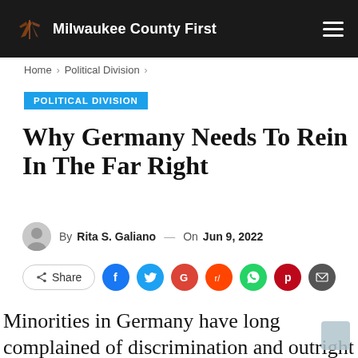Milwaukee County First
Home > Political Division >
POLITICAL DIVISION
Why Germany Needs To Rein In The Far Right
By Rita S. Galiano — On Jun 9, 2022
Share
Minorities in Germany have long complained of discrimination and outright racism, but recently leaked social media...